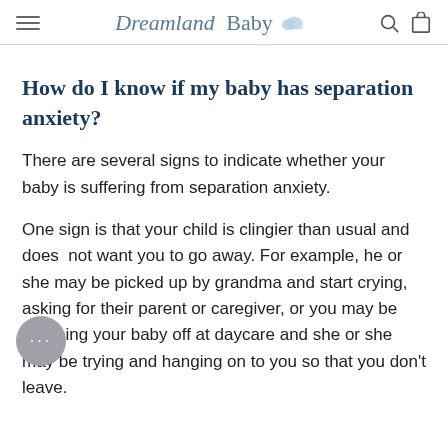Dreamland Baby
How do I know if my baby has separation anxiety?
There are several signs to indicate whether your baby is suffering from separation anxiety.
One sign is that your child is clingier than usual and does not want you to go away. For example, he or she may be picked up by grandma and start crying, asking for their parent or caregiver, or you may be dropping your baby off at daycare and she or she may be trying and hanging on to you so that you don't leave.